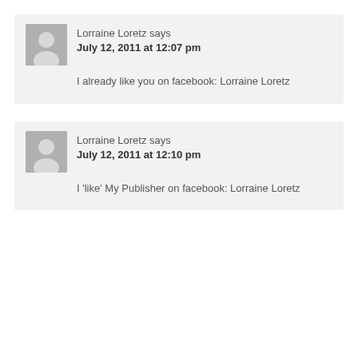Lorraine Loretz says
July 12, 2011 at 12:07 pm
I already like you on facebook: Lorraine Loretz
Lorraine Loretz says
July 12, 2011 at 12:10 pm
I 'like' My Publisher on facebook: Lorraine Loretz